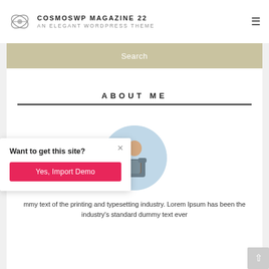COSMOSWP MAGAZINE 22 — AN ELEGANT WORDPRESS THEME
Search
ABOUT ME
[Figure (photo): Circular profile photo of a person with a backpack viewed from behind, against a light blue background]
Want to get this site?
Yes, Import Demo
mmy text of the printing and typesetting industry. Lorem Ipsum has been the industry's standard dummy text ever